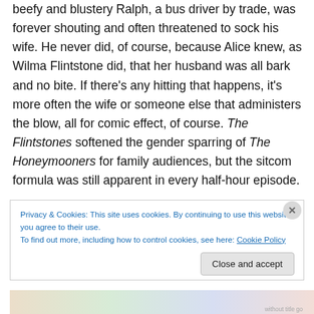beefy and blustery Ralph, a bus driver by trade, was forever shouting and often threatened to sock his wife. He never did, of course, because Alice knew, as Wilma Flintstone did, that her husband was all bark and no bite. If there's any hitting that happens, it's more often the wife or someone else that administers the blow, all for comic effect, of course. The Flintstones softened the gender sparring of The Honeymooners for family audiences, but the sitcom formula was still apparent in every half-hour episode.
Privacy & Cookies: This site uses cookies. By continuing to use this website, you agree to their use.
To find out more, including how to control cookies, see here: Cookie Policy